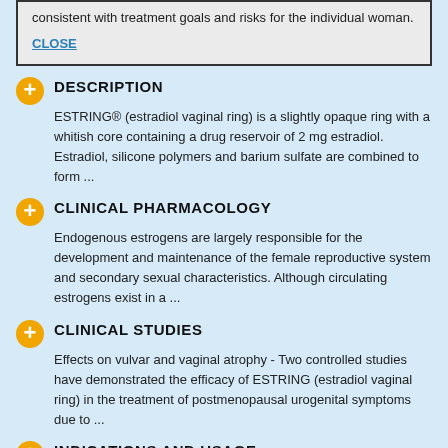consistent with treatment goals and risks for the individual woman.
CLOSE
DESCRIPTION
ESTRING® (estradiol vaginal ring) is a slightly opaque ring with a whitish core containing a drug reservoir of 2 mg estradiol. Estradiol, silicone polymers and barium sulfate are combined to form ...
CLINICAL PHARMACOLOGY
Endogenous estrogens are largely responsible for the development and maintenance of the female reproductive system and secondary sexual characteristics. Although circulating estrogens exist in a ...
CLINICAL STUDIES
Effects on vulvar and vaginal atrophy - Two controlled studies have demonstrated the efficacy of ESTRING (estradiol vaginal ring) in the treatment of postmenopausal urogenital symptoms due to ...
INDICATIONS AND USAGE